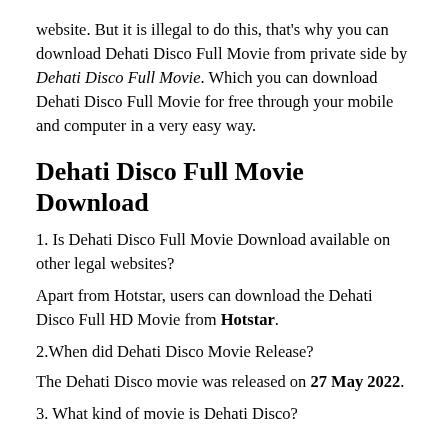website. But it is illegal to do this, that's why you can download Dehati Disco Full Movie from private side by Dehati Disco Full Movie. Which you can download Dehati Disco Full Movie for free through your mobile and computer in a very easy way.
Dehati Disco Full Movie Download
1. Is Dehati Disco Full Movie Download available on other legal websites?
Apart from Hotstar, users can download the Dehati Disco Full HD Movie from Hotstar.
2.When did Dehati Disco Movie Release?
The Dehati Disco movie was released on 27 May 2022.
3. What kind of movie is Dehati Disco?